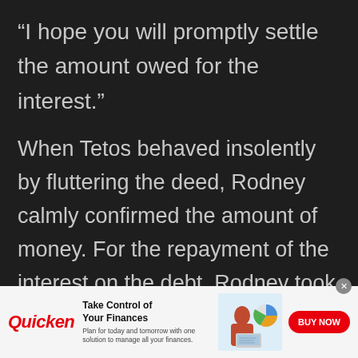“I hope you will promptly settle the amount owed for the interest.”
When Tetos behaved insolently by fluttering the deed, Rodney calmly confirmed the amount of money. For the repayment of the interest on the debt, Rodney took out his compensation money for his father’s death, which had been
[Figure (infographic): Quicken advertisement banner. Logo: 'Quicken' in red bold text. Headline: 'Take Control of Your Finances'. Subtext: 'Plan for today and tomorrow with one solution to manage all your finances.' Image of a woman sitting with a laptop and a pie chart graphic. Red 'BUY NOW' button on the right. Close (x) button in top-right corner.]